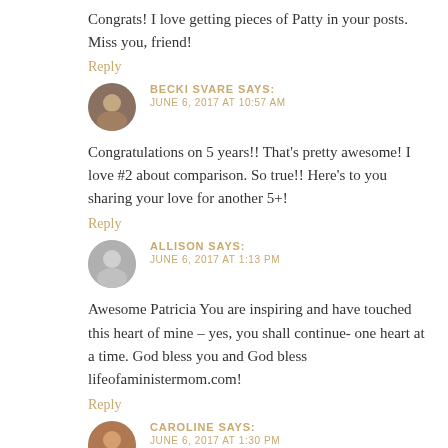Congrats! I love getting pieces of Patty in your posts. Miss you, friend!
Reply
BECKI SVARE SAYS:
JUNE 6, 2017 AT 10:57 AM
Congratulations on 5 years!! That's pretty awesome! I love #2 about comparison. So true!! Here's to you sharing your love for another 5+!
Reply
ALLISON SAYS:
JUNE 6, 2017 AT 1:13 PM
Awesome Patricia You are inspiring and have touched this heart of mine – yes, you shall continue- one heart at a time. God bless you and God bless lifeofaministermom.com!
Reply
CAROLINE SAYS:
JUNE 6, 2017 AT 1:30 PM
so so awesome friend!! Happy 5 years and I love all the